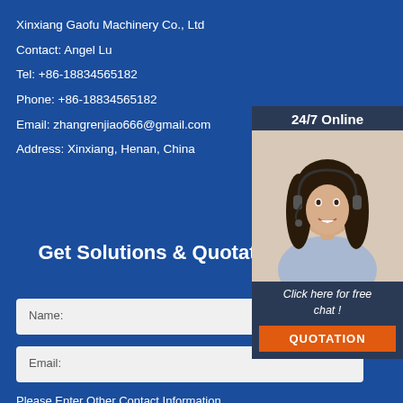Xinxiang Gaofu Machinery Co., Ltd
Contact: Angel Lu
Tel: +86-18834565182
Phone: +86-18834565182
Email: zhangrenjiao666@gmail.com
Address: Xinxiang, Henan, China
[Figure (infographic): 24/7 Online live chat widget with customer service representative photo, 'Click here for free chat!' text and QUOTATION button]
Get Solutions & Quotation
Name:
Email:
Please Enter Other Contact Information